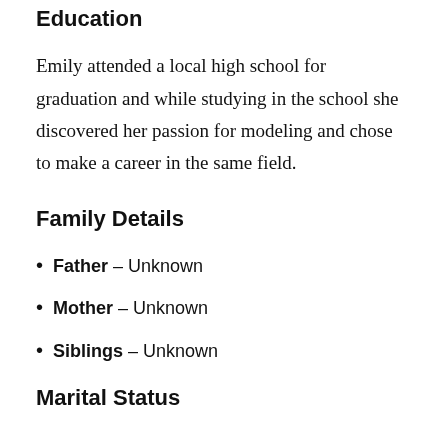Education
Emily attended a local high school for graduation and while studying in the school she discovered her passion for modeling and chose to make a career in the same field.
Family Details
Father – Unknown
Mother – Unknown
Siblings – Unknown
Marital Status